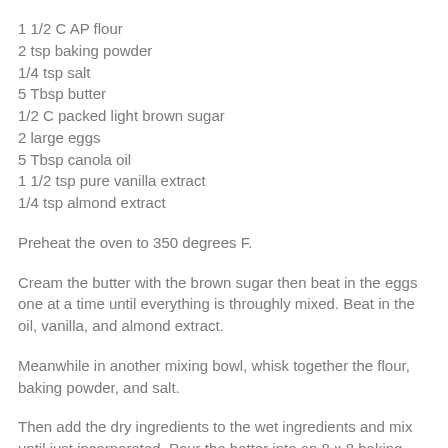1 1/2 C AP flour
2 tsp baking powder
1/4 tsp salt
5 Tbsp butter
1/2 C packed light brown sugar
2 large eggs
5 Tbsp canola oil
1 1/2 tsp pure vanilla extract
1/4 tsp almond extract
Preheat the oven to 350 degrees F.
Cream the butter with the brown sugar then beat in the eggs one at a time until everything is throughly mixed. Beat in the oil, vanilla, and almond extract.
Meanwhile in another mixing bowl, whisk together the flour, baking powder, and salt.
Then add the dry ingredients to the wet ingredients and mix until just incorporated. Pour the batter into an 8 x 8 baking dish. Cut the plums in half and remove the pits. Press the